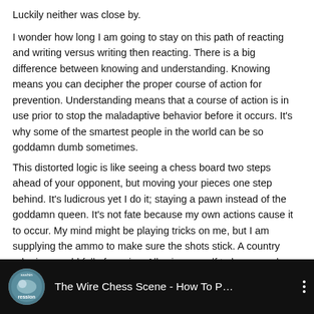Luckily neither was close by.
I wonder how long I am going to stay on this path of reacting and writing versus writing then reacting. There is a big difference between knowing and understanding. Knowing means you can decipher the proper course of action for prevention. Understanding means that a course of action is in use prior to stop the maladaptive behavior before it occurs. It's why some of the smartest people in the world can be so goddamn dumb sometimes.
This distorted logic is like seeing a chess board two steps ahead of your opponent, but moving your pieces one step behind. It's ludicrous yet I do it; staying a pawn instead of the goddamn queen. It's not fate because my own actions cause it to occur. My mind might be playing tricks on me, but I am supplying the ammo to make sure the shots stick. A country rube in a world full of carnies. Allowing myself to be conned every step of the way.
[Figure (screenshot): Video thumbnail for 'The Wire Chess Scene - How To P...' with a circular avatar icon on the left and three vertical dots menu icon on the right, on a black background.]